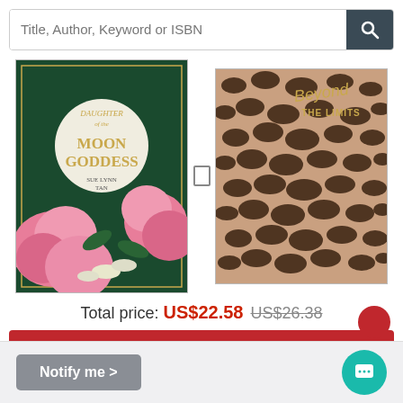Title, Author, Keyword or ISBN
[Figure (illustration): Book cover: Daughter of the Moon Goddess by Sue Lynn Tan — dark green background with large pink peonies and a full moon]
[Figure (illustration): Book/notebook cover: Beyond the Limits — leopard print pattern in brown and black with gold cursive title text]
Total price: US$22.58  US$26.38
Add selected to cart
Notify me >